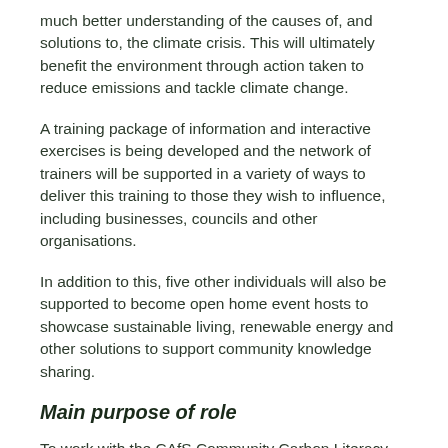much better understanding of the causes of, and solutions to, the climate crisis. This will ultimately benefit the environment through action taken to reduce emissions and tackle climate change.
A training package of information and interactive exercises is being developed and the network of trainers will be supported in a variety of ways to deliver this training to those they wish to influence, including businesses, councils and other organisations.
In addition to this, five other individuals will also be supported to become open home event hosts to showcase sustainable living, renewable energy and other solutions to support community knowledge sharing.
Main purpose of role
To work with the CAfS Community Carbon Literacy Coordinator as part of a team of volunteer community trainers to run a widespread programme of events, training and facilitated discussions on climate science and